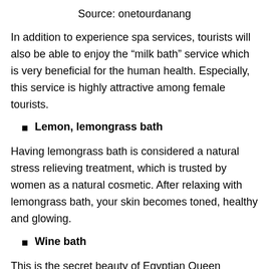Source: onetourdanang
In addition to experience spa services, tourists will also be able to enjoy the “milk bath” service which is very beneficial for the human health. Especially, this service is highly attractive among female tourists.
Lemon, lemongrass bath
Having lemongrass bath is considered a natural stress relieving treatment, which is trusted by women as a natural cosmetic. After relaxing with lemongrass bath, your skin becomes toned, healthy and glowing.
Wine bath
This is the secret beauty of Egyptian Queen Cleopatra in thousands of years ago. Many studies proved that wine